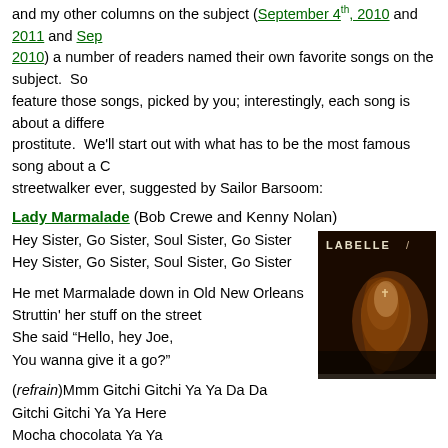and my other columns on the subject (September 4, 2010 and 2011 and Sep 2010) a number of readers named their own favorite songs on the subject. So feature those songs, picked by you; interestingly, each song is about a differe prostitute. We'll start out with what has to be the most famous song about a C streetwalker ever, suggested by Sailor Barsoom:
Lady Marmalade (Bob Crewe and Kenny Nolan)
Hey Sister, Go Sister, Soul Sister, Go Sister
Hey Sister, Go Sister, Soul Sister, Go Sister
He met Marmalade down in Old New Orleans
Struttin' her stuff on the street
She said “Hello, hey Joe,
You wanna give it a go?”
[Figure (photo): LaBelle album cover showing a performer in dark background]
(refrain)Mmm Gitchi Gitchi Ya Ya Da Da
Gitchi Gitchi Ya Ya Here
Mocha chocolata Ya Ya
Creole Lady Marmalade
Voulez-vous coucher avec moi ce soir?
Voulez-vous coucher avec moi?
He savored her cool while she freshened up
That boy drank all that Magnolia wine
On the black satin sheets where